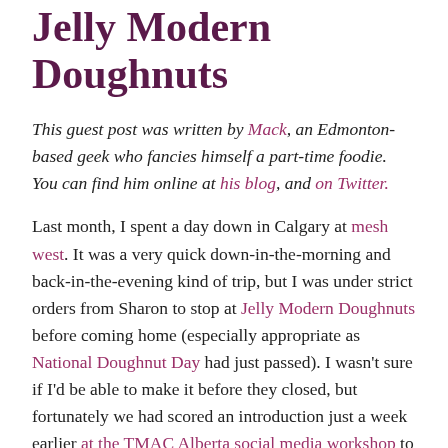Jelly Modern Doughnuts
This guest post was written by Mack, an Edmonton-based geek who fancies himself a part-time foodie. You can find him online at his blog, and on Twitter.
Last month, I spent a day down in Calgary at mesh west. It was a very quick down-in-the-morning and back-in-the-evening kind of trip, but I was under strict orders from Sharon to stop at Jelly Modern Doughnuts before coming home (especially appropriate as National Doughnut Day had just passed). I wasn't sure if I'd be able to make it before they closed, but fortunately we had scored an introduction just a week earlier at the TMAC Alberta social media workshop to founder Rita